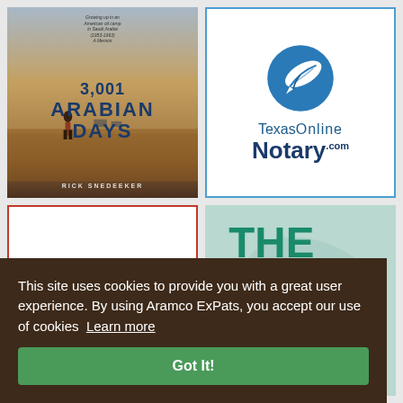[Figure (illustration): Book cover for '3,001 Arabian Days' by Rick Snedekar. Desert scene background with a child figure. Subtitle reads 'Growing up in an American oil camp in Saudi Arabia (1953-1963): A Memoir']
[Figure (logo): Texas Online Notary .com logo with a blue circle containing a white feather/quill pen icon, and text 'TexasOnline Notary.com' below in dark blue]
[Figure (logo): Partial view of a red logo on white background with dark red circular emblem, partially cut off]
[Figure (illustration): Teal/mint colored background with large bold green text partially visible: 'THE', 'ME', 'OOL', 'RX', 'ALTH' - appears to be 'THE HOME POOL RX HEALTH' or similar]
This site uses cookies to provide you with a great user experience. By using Aramco ExPats, you accept our use of cookies  Learn more
Got It!